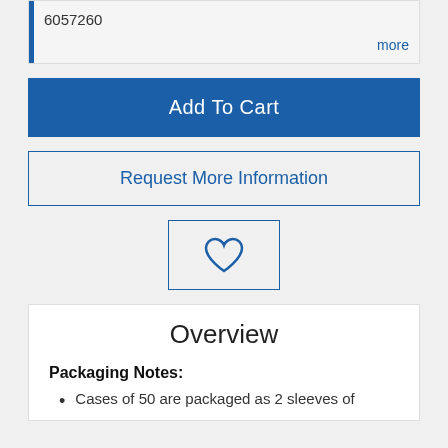6057260
more
Add To Cart
Request More Information
[Figure (illustration): Heart/wishlist icon button with blue outline border]
Overview
Packaging Notes:
Cases of 50 are packaged as 2 sleeves of